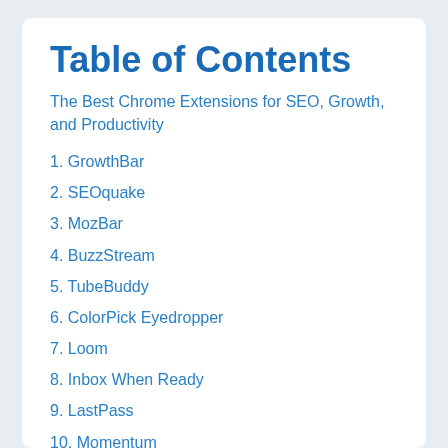Table of Contents
The Best Chrome Extensions for SEO, Growth, and Productivity
1. GrowthBar
2. SEOquake
3. MozBar
4. BuzzStream
5. TubeBuddy
6. ColorPick Eyedropper
7. Loom
8. Inbox When Ready
9. LastPass
10. Momentum
11. The Great Suspender
12. Ghostery
13. Awesome Screenshot